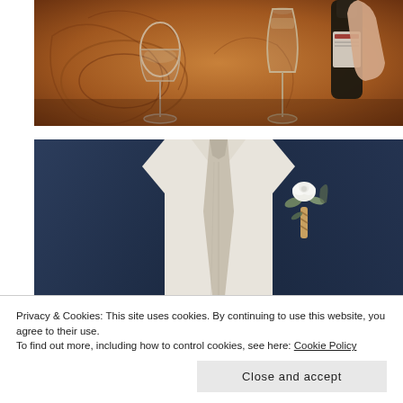[Figure (photo): Close-up of champagne flutes and a wine bottle on an ornate decorative tray or table with intricate brown/gold patterns. A hand is visible pouring or holding a bottle.]
[Figure (photo): A groom wearing a navy blue suit with a light grey tie and a white rose boutonniere with wrapped greenery. Only the torso is visible. Background is blurred light stone.]
Privacy & Cookies: This site uses cookies. By continuing to use this website, you agree to their use.
To find out more, including how to control cookies, see here: Cookie Policy
Close and accept